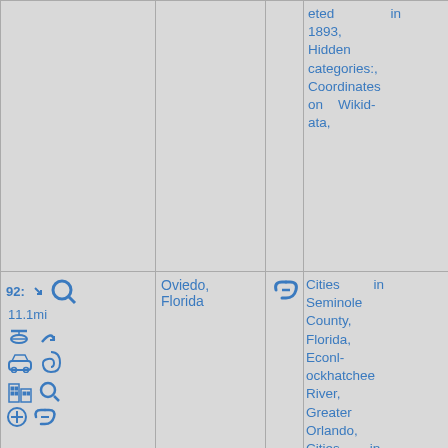| #/Distance | Location | Link | Categories | Photo |
| --- | --- | --- | --- | --- |
|  |  |  | eted in 1893, Hidden categories:, Coordinates on Wikidata, |  |
| 92: 11.1mi [icons] | Oviedo, Florida | [link icon] | Cities in Seminole County, Florida, Econlockhatchee River, Greater Orlando, Cities in Florida, Hidden categories:, All articles with dead external links, Articles with dead external links from August 2011, Coordinates | [photo of brick house] |